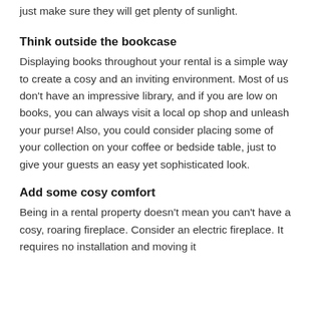just make sure they will get plenty of sunlight.
Think outside the bookcase
Displaying books throughout your rental is a simple way to create a cosy and an inviting environment. Most of us don't have an impressive library, and if you are low on books, you can always visit a local op shop and unleash your purse! Also, you could consider placing some of your collection on your coffee or bedside table, just to give your guests an easy yet sophisticated look.
Add some cosy comfort
Being in a rental property doesn't mean you can't have a cosy, roaring fireplace. Consider an electric fireplace. It requires no installation and moving it